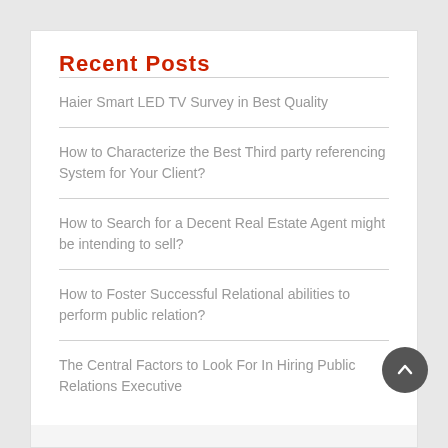Recent Posts
Haier Smart LED TV Survey in Best Quality
How to Characterize the Best Third party referencing System for Your Client?
How to Search for a Decent Real Estate Agent might be intending to sell?
How to Foster Successful Relational abilities to perform public relation?
The Central Factors to Look For In Hiring Public Relations Executive